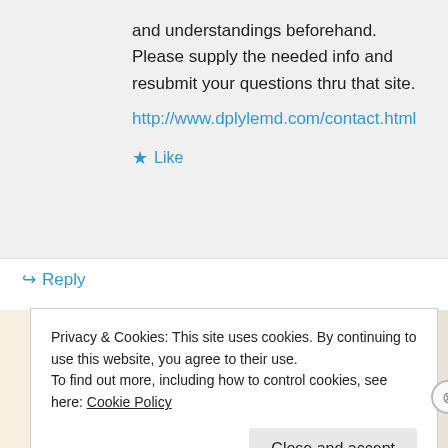and understandings beforehand. Please supply the needed info and resubmit your questions thru that site.
http://www.dplylemd.com/contact.html
★ Like
↪ Reply
[Figure (screenshot): Advertisement banner with 'Explore options' green button and app screenshot showing food/menu images]
Privacy & Cookies: This site uses cookies. By continuing to use this website, you agree to their use. To find out more, including how to control cookies, see here: Cookie Policy
Close and accept